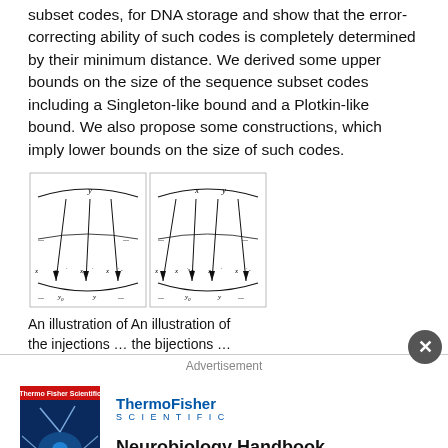subset codes, for DNA storage and show that the error-correcting ability of such codes is completely determined by their minimum distance. We derived some upper bounds on the size of the sequence subset codes including a Singleton-like bound and a Plotkin-like bound. We also propose some constructions, which imply lower bounds on the size of such codes.
[Figure (illustration): Two side-by-side diagrams illustrating injections and bijections with curved lines, arrows, and labeled points including x, y, x', x'-, y0, y labels on curved manifold-like surfaces.]
An illustration of An illustration of the injections … the bijections …
Advertisement
[Figure (photo): Book cover of Neurobiology Precision Handbook with a neuron image on a dark blue background and red Thermo Fisher Scientific banner.]
ThermoFisher SCIENTIFIC
Neurobiology Handbook